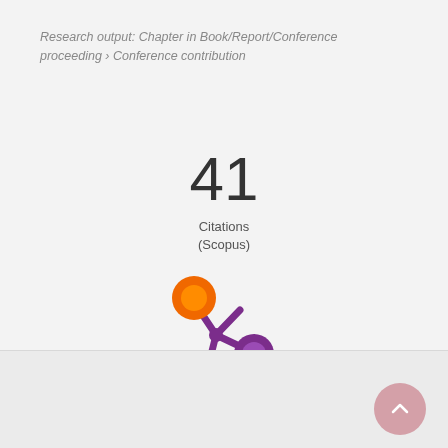Research output: Chapter in Book/Report/Conference proceeding › Conference contribution
41 Citations (Scopus)
[Figure (logo): Scopus/Pure snowflake-like logo with orange, purple, and yellow circles connected by purple arms]
Overview
Fingerprint